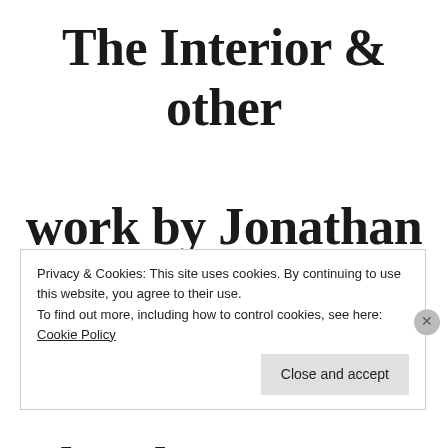The Interior & other work by Jonathan Rattner Thurday, January
Privacy & Cookies: This site uses cookies. By continuing to use this website, you agree to their use.
To find out more, including how to control cookies, see here: Cookie Policy
Close and accept